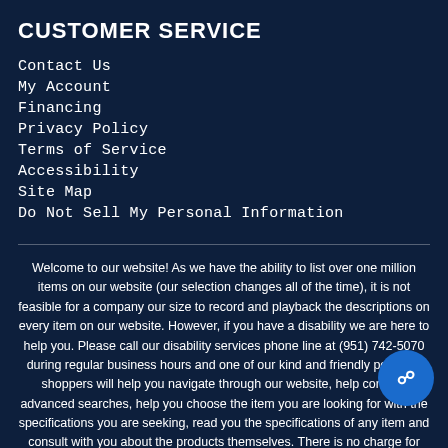CUSTOMER SERVICE
Contact Us
My Account
Financing
Privacy Policy
Terms of Service
Accessibility
Site Map
Do Not Sell My Personal Information
Welcome to our website! As we have the ability to list over one million items on our website (our selection changes all of the time), it is not feasible for a company our size to record and playback the descriptions on every item on our website. However, if you have a disability we are here to help you. Please call our disability services phone line at (951) 742-5070 during regular business hours and one of our kind and friendly personal shoppers will help you navigate through our website, help conduct advanced searches, help you choose the item you are looking for with the specifications you are seeking, read you the specifications of any item and consult with you about the products themselves. There is no charge for the help of this personal shopper